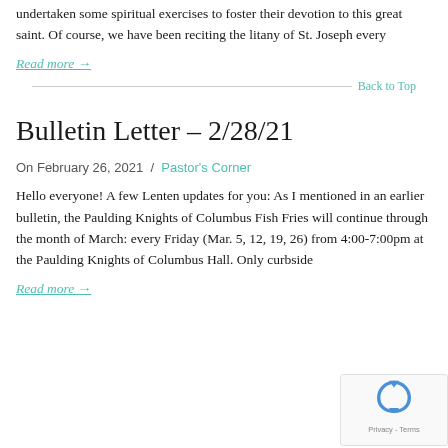undertaken some spiritual exercises to foster their devotion to this great saint.  Of course, we have been reciting the litany of St. Joseph every
Read more →
Back to Top
Bulletin Letter – 2/28/21
On February 26, 2021  /  Pastor's Corner
Hello everyone! A few Lenten updates for you: As I mentioned in an earlier bulletin, the Paulding Knights of Columbus Fish Fries will continue through the month of March: every Friday (Mar. 5, 12, 19, 26) from 4:00-7:00pm at the Paulding Knights of Columbus Hall.  Only curbside
Read more →